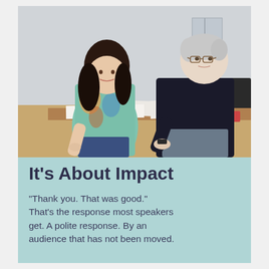[Figure (photo): A woman with long dark hair wearing a colorful patterned top and a man with white hair wearing a dark sweater, both leaning over a table covered with papers and documents, appearing to review or discuss materials.]
It's About Impact
"Thank you. That was good." That's the response most speakers get. A polite response. By an audience that has not been moved.